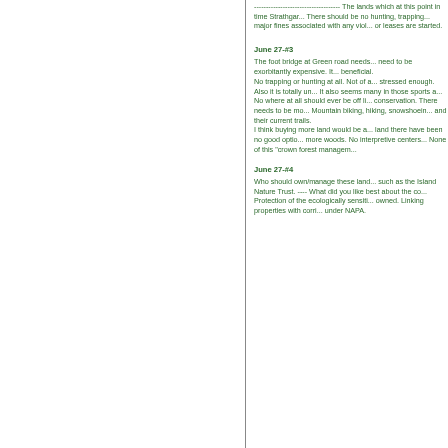------------------------------------ The lands which at this point in time Strathgar... There should be no hunting, trapping... major fines associated with any viol... or leases are started.
June 27-#3
The foot bridge at Green road needs... need to be exorbitantly expensive. It... beneficial. No trapping or hunting at all. Not of a... stressed enough. Also it is totally un... It also seems many in those sports a... No where at all should ever be off li... conservation. There needs to be mo... Mountain biking, hiking, snowshoein... and their current trails. I think buying more land would be a... land there have been no good optio... more woods. No interpretive centers... None of this "crown forest managem...
June 27-#4
Who should own/manage these land... such as the Island Nature Trust. ---- What did you like best about the co... Protection of the ecologically sensiti... owned. Linking properties with corri... under NAPA.